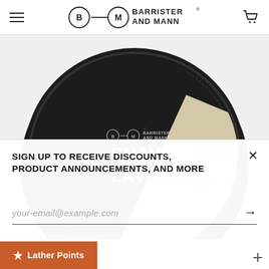Barrister and Mann
[Figure (photo): Round tin of Barrister and Mann Shaving Soap in Lavanille scent. Black lid with white and gold text reading 'SHAVING SOAP LAVANILLE', with a fleur-de-lis decorative element on a cream background panel.]
SIGN UP TO RECEIVE DISCOUNTS, PRODUCT ANNOUNCEMENTS, AND MORE
your-email@example.com
Lather Points